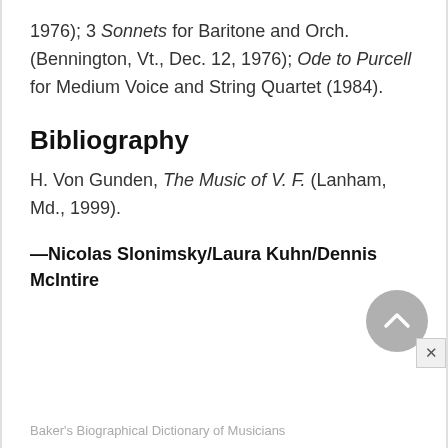1976); 3 Sonnets for Baritone and Orch. (Bennington, Vt., Dec. 12, 1976); Ode to Purcell for Medium Voice and String Quartet (1984).
Bibliography
H. Von Gunden, The Music of V. F. (Lanham, Md., 1999).
—Nicolas Slonimsky/Laura Kuhn/Dennis McIntire
Baker's Biographical Dictionary of Musicians